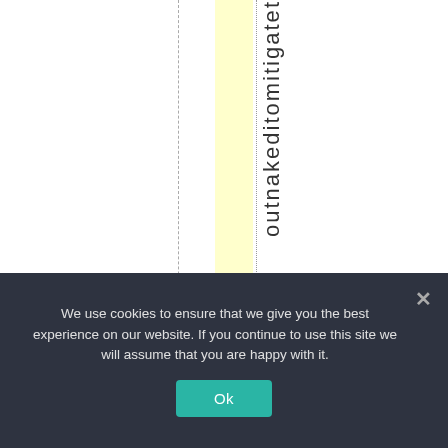[Figure (other): Document page fragment showing vertical rotated text spelling 'outnakeditomitigate' with a yellow highlighted column, dashed and dotted vertical lines on a white background]
We use cookies to ensure that we give you the best experience on our website. If you continue to use this site we will assume that you are happy with it.